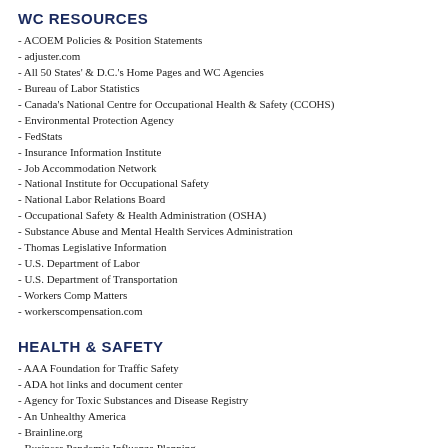WC RESOURCES
- ACOEM Policies & Position Statements
- adjuster.com
- All 50 States' & D.C.'s Home Pages and WC Agencies
- Bureau of Labor Statistics
- Canada's National Centre for Occupational Health & Safety (CCOHS)
- Environmental Protection Agency
- FedStats
- Insurance Information Institute
- Job Accommodation Network
- National Institute for Occupational Safety
- National Labor Relations Board
- Occupational Safety & Health Administration (OSHA)
- Substance Abuse and Mental Health Services Administration
- Thomas Legislative Information
- U.S. Department of Labor
- U.S. Department of Transportation
- Workers Comp Matters
- workerscompensation.com
HEALTH & SAFETY
- AAA Foundation for Traffic Safety
- ADA hot links and document center
- Agency for Toxic Substances and Disease Registry
- An Unhealthy America
- Brainline.org
- Business Pandemic Influenza Planning
- Cal-OSHA Reporter
- Center for Construction Research & Training
- Confined Space
- Cornell University Ergonomics Website